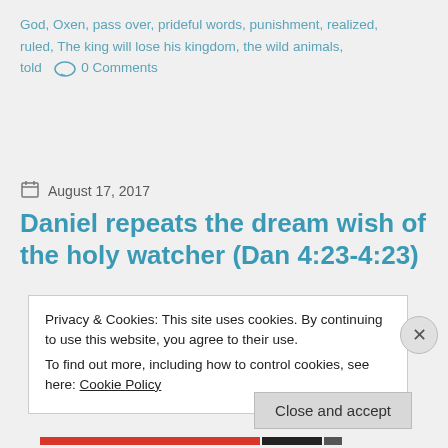God, Oxen, pass over, prideful words, punishment, realized, ruled, The king will lose his kingdom, the wild animals, told    💬 0 Comments
August 17, 2017
Daniel repeats the dream wish of the holy watcher (Dan 4:23-4:23)
Privacy & Cookies: This site uses cookies. By continuing to use this website, you agree to their use.
To find out more, including how to control cookies, see here: Cookie Policy
Close and accept